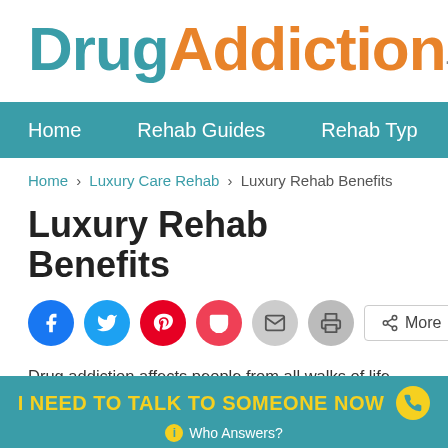[Figure (logo): DrugAddiction.org logo with 'Drug' in teal and 'Addiction' in orange, '.org' superscript in gray]
Home | Rehab Guides | Rehab Types
Home › Luxury Care Rehab › Luxury Rehab Benefits
Luxury Rehab Benefits
[Figure (infographic): Social sharing buttons: Facebook (blue), Twitter (light blue), Pinterest (red), Pocket (red/pink), Email (gray), Print (gray), and More button]
Drug addiction affects people from all walks of life, stealing prec... to the University of Oregon, drug-induced deaths have doubled... ever time, drug addiction's effects become increasingly worse t...
I NEED TO TALK TO SOMEONE NOW  Who Answers?